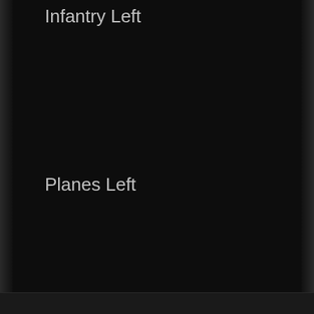Infantry Left
Planes Left
Buildings Left
Ships Left